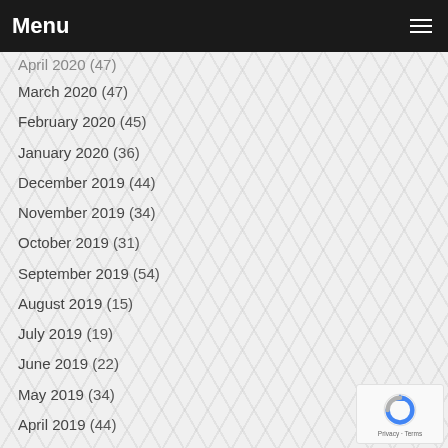Menu
April 2020 (47)
March 2020 (47)
February 2020 (45)
January 2020 (36)
December 2019 (44)
November 2019 (34)
October 2019 (31)
September 2019 (54)
August 2019 (15)
July 2019 (19)
June 2019 (22)
May 2019 (34)
April 2019 (44)
March 2019 (49)
February 2019 (23)
January 2019 (13)